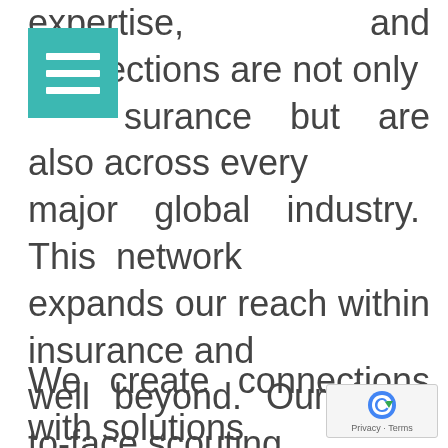expertise, and connections are not only insurance but are also across every major global industry. This network expands our reach within insurance and well beyond. Our face-to-face scouting and screening process for startups and caliber of business partners play significant roles in our success.
We create connections with solutions based on what the insurer needs example, we analyze each partner's